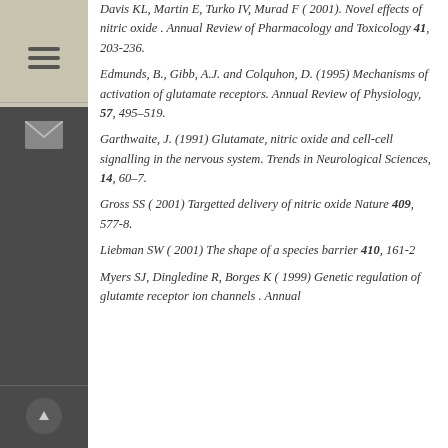Davis KL, Martin E, Turko IV, Murad F (2001). Novel effects of nitric oxide . Annual Review of Pharmacology and Toxicology 41, 203-236.
Edmunds, B., Gibb, A.J. and Colquhon, D. (1995) Mechanisms of activation of glutamate receptors. Annual Review of Physiology, 57, 495–519.
Garthwaite, J. (1991) Glutamate, nitric oxide and cell-cell signalling in the nervous system. Trends in Neurological Sciences, 14, 60–7.
Gross SS ( 2001) Targetted delivery of nitric oxide Nature 409, 577-8.
Liebman SW ( 2001) The shape of a species barrier 410, 161-2
Myers SJ, Dingledine R, Borges K ( 1999) Genetic regulation of glutamte receptor ion channels . Annual Review of Pharmacology and Toxicology 39, 221-241.